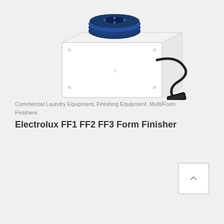[Figure (photo): Commercial laundry form finisher machine — white rectangular box with blue circular motor/fan on top and a black power cord/foot pedal attached, shown on light gray background]
Commercial Laundry Equipment, Finishing Equipment, Multi/Form Finishers
Electrolux FF1 FF2 FF3 Form Finisher